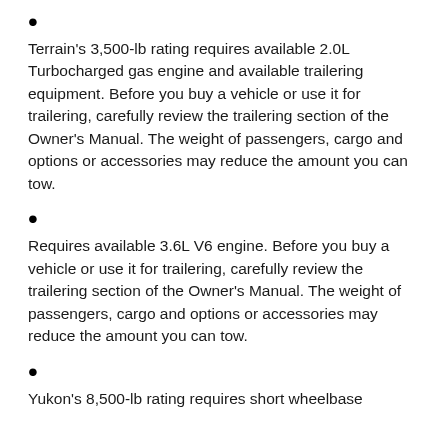Terrain's 3,500-lb rating requires available 2.0L Turbocharged gas engine and available trailering equipment. Before you buy a vehicle or use it for trailering, carefully review the trailering section of the Owner's Manual. The weight of passengers, cargo and options or accessories may reduce the amount you can tow.
Requires available 3.6L V6 engine. Before you buy a vehicle or use it for trailering, carefully review the trailering section of the Owner's Manual. The weight of passengers, cargo and options or accessories may reduce the amount you can tow.
Yukon's 8,500-lb rating requires short wheelbase